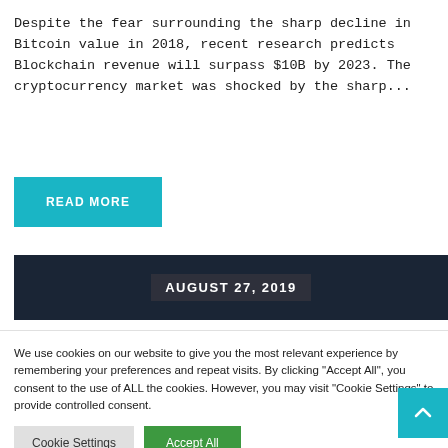Despite the fear surrounding the sharp decline in Bitcoin value in 2018, recent research predicts Blockchain revenue will surpass $10B by 2023. The cryptocurrency market was shocked by the sharp...
READ MORE
AUGUST 27, 2019
We use cookies on our website to give you the most relevant experience by remembering your preferences and repeat visits. By clicking "Accept All", you consent to the use of ALL the cookies. However, you may visit "Cookie Settings" to provide controlled consent.
Cookie Settings
Accept All